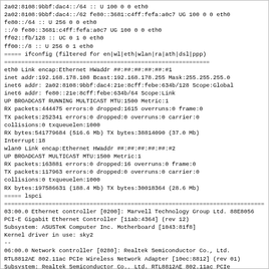2a02:8108:9bbf:dac4::/64 :: U 100 0 0 eth0
2a02:8108:9bbf:dac4::/62 fe80::3681:c4ff:fefa:a0c7 UG 100 0 0 eth0
fe80::/64 :: U 256 0 0 eth0
::/0 fe80::3681:c4ff:fefa:a0c7 UG 100 0 0 eth0
ff02::fb/128 :: UC 0 1 0 eth0
ff00::/8 :: U 256 0 1 eth0
===== ifconfig (filtered for en|wl|eth|wlan|ra|ath|dsl|ppp)
============================================================
eth0 Link encap:Ethernet HWaddr ##:##:##:##:##:#1
inet addr:192.168.178.108 Bcast:192.168.178.255 Mask:255.255.255.0
inet6 addr: 2a02:8108:9bbf:dac4:21e:8cff:febe:634b/128 Scope:Global
inet6 addr: fe80::21e:8cff:febe:634b/64 Scope:Link
UP BROADCAST RUNNING MULTICAST MTU:1500 Metric:1
RX packets:444475 errors:0 dropped:1615 overruns:0 frame:0
TX packets:252341 errors:0 dropped:0 overruns:0 carrier:0
collisions:0 txqueuelen:1000
RX bytes:541779684 (516.6 Mb) TX bytes:38814090 (37.0 Mb)
Interrupt:18
wlan0 Link encap:Ethernet HWaddr ##:##:##:##:##:#2
UP BROADCAST MULTICAST MTU:1500 Metric:1
RX packets:163881 errors:0 dropped:16 overruns:0 frame:0
TX packets:117963 errors:0 dropped:0 overruns:0 carrier:0
collisions:0 txqueuelen:1000
RX bytes:197586631 (188.4 Mb) TX bytes:30018364 (28.6 Mb)
===== lspci
============================================================================
03:00.0 Ethernet controller [0200]: Marvell Technology Group Ltd. 88E8056
PCI-E Gigabit Ethernet Controller [11ab:4364] (rev 12)
Subsystem: ASUSTeK Computer Inc. Motherboard [1043:81f8]
Kernel driver in use: sky2
--
06:00.0 Network controller [0280]: Realtek Semiconductor Co., Ltd.
RTL8812AE 802.11ac PCIe Wireless Network Adapter [10ec:8812] (rev 01)
Subsystem: Realtek Semiconductor Co., Ltd. RTL8812AE 802.11ac PCIe
Wireless Network Adapter [10ec:8812]
Kernel driver in use: rtl8821ae
Kernel modules: rtl8821ae
===== lsusb | grep -i "root hub"